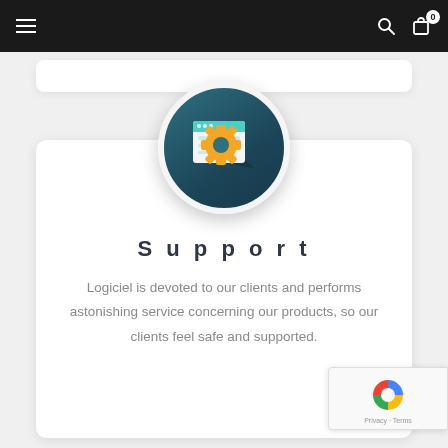Navigation bar with hamburger menu, search icon, and cart with 0 items
[Figure (illustration): Circular icon with dark teal background showing a browser window with teal header and a yellow/orange gear cog overlapping it, representing software support]
Support
Logiciel is devoted to our clients and performs astonishing service concerning our products, so our clients feel safe and supported.